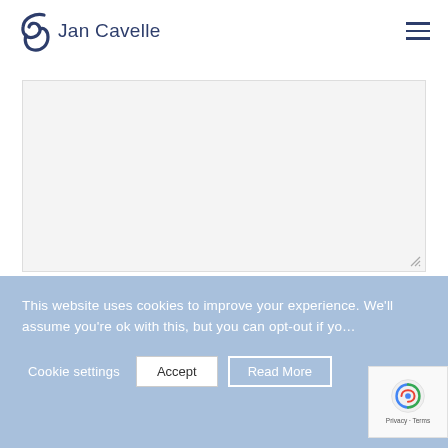Jan Cavelle
[Figure (other): Empty textarea input field with resize handle at bottom-right]
Name *
[Figure (other): Empty text input field for Name]
This website uses cookies to improve your experience. We'll assume you're ok with this, but you can opt-out if you wish.
Cookie settings  Accept  Read More